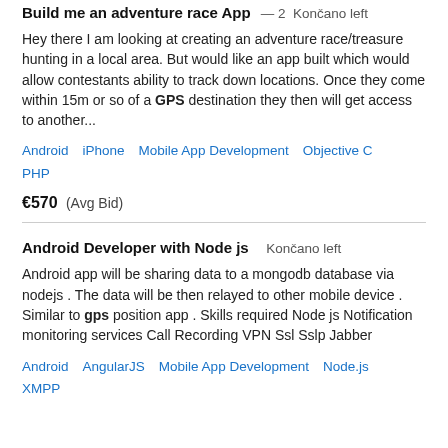Build me an adventure race App — 2 Končano left
Hey there I am looking at creating an adventure race/treasure hunting in a local area. But would like an app built which would allow contestants ability to track down locations. Once they come within 15m or so of a GPS destination they then will get access to another...
Android   iPhone   Mobile App Development   Objective C   PHP
€570  (Avg Bid)
Android Developer with Node js  Končano left
Android app will be sharing data to a mongodb database via nodejs . The data will be then relayed to other mobile device . Similar to gps position app . Skills required Node js Notification monitoring services Call Recording VPN Ssl Sslp Jabber
Android   AngularJS   Mobile App Development   Node.js   XMPP